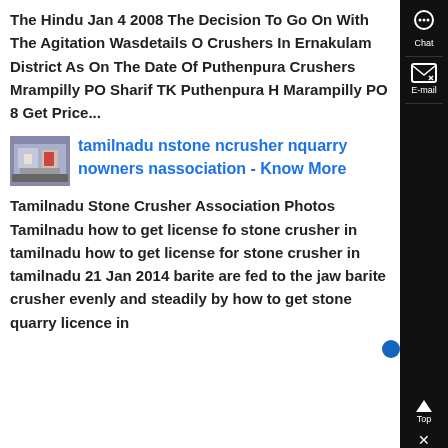The Hindu Jan 4 2008 The Decision To Go On With The Agitation Wasdetails Of Crushers In Ernakulam District As On The Date Of Puthenpura Crushers Mrampilly PO Sharif TK Puthenpura H Marampilly PO 8 Get Price...
[Figure (photo): Thumbnail image of industrial machinery/stone crusher facility]
tamilnadu nstone ncrusher nquarry nowners nassociation - Know More
Tamilnadu Stone Crusher Association Photos Tamilnadu how to get license for stone crusher in tamilnadu how to get license for stone crusher in tamilnadu 21 Jan 2014 barite are fed to the jaw barite crusher evenly and steadily by how to get stone quarry licence in